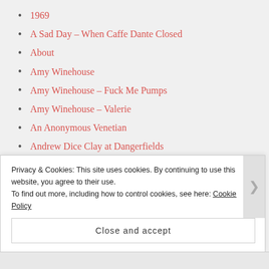1969
A Sad Day – When Caffe Dante Closed
About
Amy Winehouse
Amy Winehouse – Fuck Me Pumps
Amy Winehouse – Valerie
An Anonymous Venetian
Andrew Dice Clay at Dangerfields
Best Cookbook Covers
Best of CHRIS FARLEY
BEST SELLING COOKBOOKS AMAZON
Big Lebowski Spaghetti Meatballs Recipe
Privacy & Cookies: This site uses cookies. By continuing to use this website, you agree to their use.
To find out more, including how to control cookies, see here: Cookie Policy
Close and accept